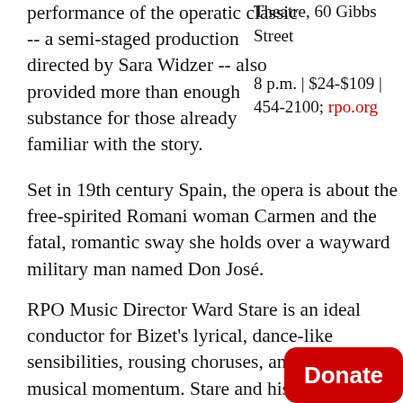performance of the operatic classic -- a semi-staged production directed by Sara Widzer -- also provided more than enough substance for those already familiar with the story.
Theatre, 60 Gibbs Street
8 p.m. | $24-$109 | 454-2100; rpo.org
Set in 19th century Spain, the opera is about the free-spirited Romani woman Carmen and the fatal, romantic sway she holds over a wayward military man named Don José.
RPO Music Director Ward Stare is an ideal conductor for Bizet's lyrical, dance-like sensibilities, rousing choruses, and intuition for musical momentum. Stare and his orchestra didn't disappoint here, achieving a balance that never overshadowed the s instead heightened the dramatic truth